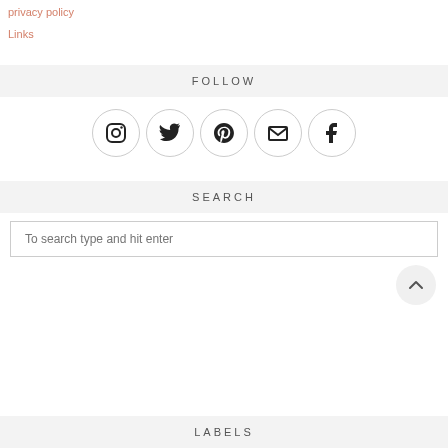privacy policy
Links
FOLLOW
[Figure (infographic): Row of 5 social media icon circles: Instagram, Twitter, Pinterest, Email, Facebook]
SEARCH
To search type and hit enter
LABELS